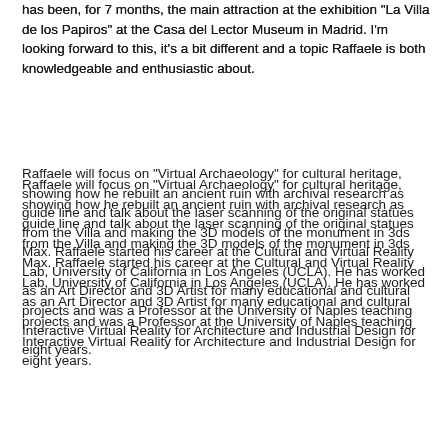has been, for 7 months, the main attraction at the exhibition "La Villa de los Papiros" at the Casa del Lector Museum in Madrid. I'm looking forward to this, it's a bit different and a topic Raffaele is both knowledgeable and enthusiastic about.
Raffaele will focus on "Virtual Archaeology" for cultural heritage, showing how he rebuilt an ancient ruin with archival research as guide line and talk about the laser scanning of the original statues from the Villa and making the 3D models of the monument in 3ds Max. Raffaele started his career at the Cultural and Virtual Reality Lab, University of California in Los Angeles (UCLA). He has worked as an Art Director and 3D Artist for many educational and cultural projects and was a Professor at the University of Naples teaching Interactive Virtual Reality for Architecture and Industrial Design for eight years.
Always looking for presentations don't forget! If it's short just bring it along, if you're feeling more confident get in touch and arrange a date. Check www.3dslondon.co.uk, follow @3dslondon or email to get on the distribution list. I recently discovered 3ds London has been on Facebook for four